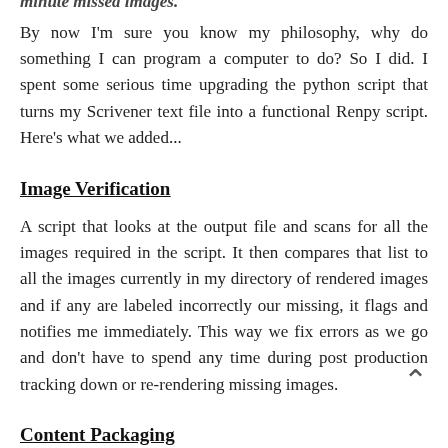minute missed images.
By now I'm sure you know my philosophy, why do something I can program a computer to do? So I did. I spent some serious time upgrading the python script that turns my Scrivener text file into a functional Renpy script. Here's what we added...
Image Verification
A script that looks at the output file and scans for all the images required in the script. It then compares that list to all the images currently in my directory of rendered images and if any are labeled incorrectly our missing, it flags and notifies me immediately. This way we fix errors as we go and don't have to spend any time during post production tracking down or re-rendering missing images.
Content Packaging
I've always wanted to structure it so that patrons can